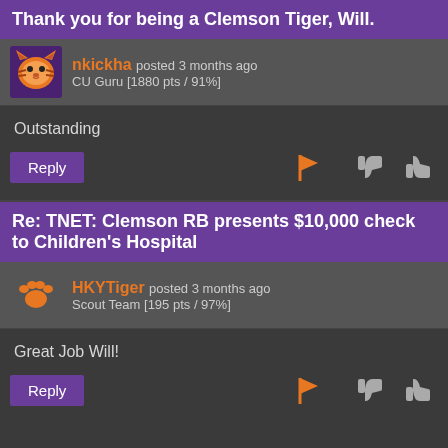Thank you for being a Clemson Tiger, Will.
nkickha posted 3 months ago
CU Guru [1880 pts / 91%]
Outstanding
Re: TNET: Clemson RB presents $10,000 check to Children's Hospital
HKYTiger posted 3 months ago
Scout Team [195 pts / 97%]
Great Job Will!